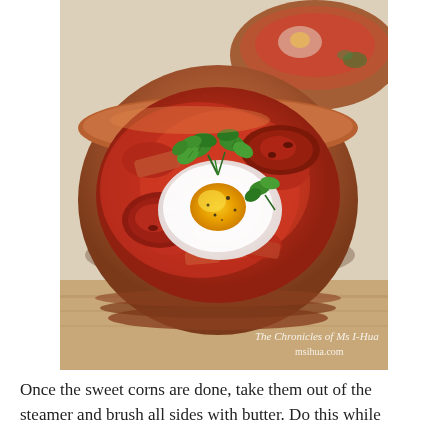[Figure (photo): A close-up food photograph of a terracotta bowl containing a baked egg dish with chorizo sausage slices, tomato sauce, and garnished with fresh cilantro/parsley. A second similar bowl is visible blurred in the background. The dish is placed on a wooden board. A watermark reads 'The Chronicles of Ms I-Hua' and 'msihua.com' in the lower right corner of the image.]
Once the sweet corns are done, take them out of the steamer and brush all sides with butter. Do this while